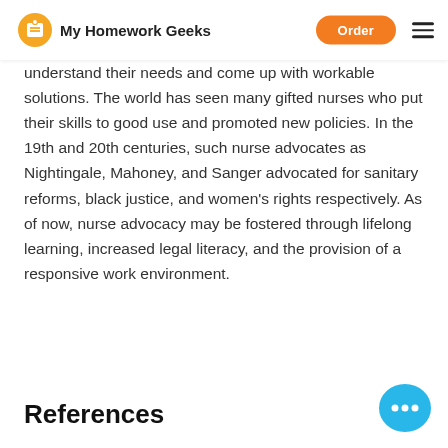My Homework Geeks | Order
understand their needs and come up with workable solutions. The world has seen many gifted nurses who put their skills to good use and promoted new policies. In the 19th and 20th centuries, such nurse advocates as Nightingale, Mahoney, and Sanger advocated for sanitary reforms, black justice, and women's rights respectively. As of now, nurse advocacy may be fostered through lifelong learning, increased legal literacy, and the provision of a responsive work environment.
References